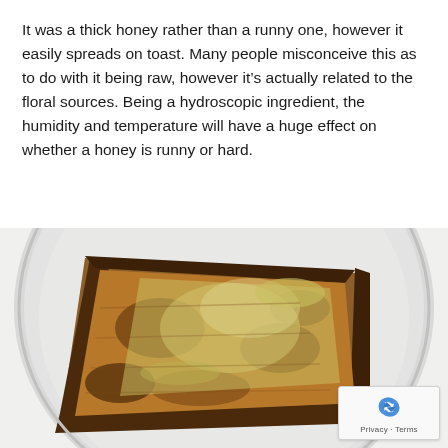It was a thick honey rather than a runny one, however it easily spreads on toast. Many people misconceive this as to do with it being raw, however it's actually related to the floral sources. Being a hydroscopic ingredient, the humidity and temperature will have a huge effect on whether a honey is runny or hard.
[Figure (photo): A photograph of a slice of toasted bread with honey spread on it, served on a white round plate. The toast appears well-browned and the honey has melted and spread across the surface.]